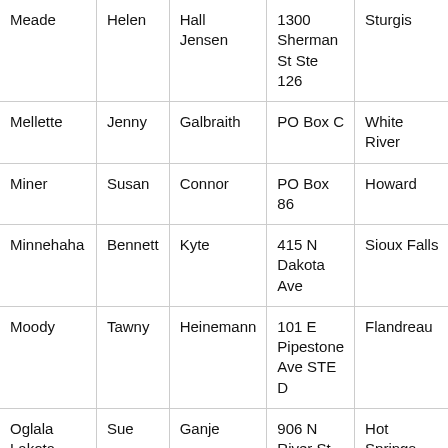| County | First | Last | Address | City | Zip |
| --- | --- | --- | --- | --- | --- |
| Meade | Helen | Hall Jensen | 1300 Sherman St Ste 126 | Sturgis | 5778... |
| Mellette | Jenny | Galbraith | PO Box C | White River | 5757... 0403 |
| Miner | Susan | Connor | PO Box 86 | Howard | 5734... 0086 |
| Minnehaha | Bennett | Kyte | 415 N Dakota Ave | Sioux Falls | 5710... 2465 |
| Moody | Tawny | Heinemann | 101 E Pipestone Ave STE D | Flandreau | 5702... 0750 |
| Oglala Lakota | Sue | Ganje | 906 N River St | Hot Springs | 5774... 1398 |
| Pennington | Cindy | Mohler | 130 Kansas City St Ste 230 | Rapid City | 5770... |
| Perkins | Sara | Stadler | PO Box 126 | Bison | 5762... 0126 |
| Potter | Darian | Tanner | 201 S Exene | Gettysburg | 5744... 1521 |